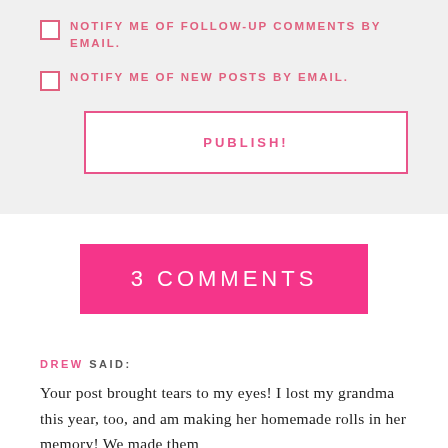NOTIFY ME OF FOLLOW-UP COMMENTS BY EMAIL.
NOTIFY ME OF NEW POSTS BY EMAIL.
PUBLISH!
3 COMMENTS
DREW SAID:
Your post brought tears to my eyes! I lost my grandma this year, too, and am making her homemade rolls in her memory! We made them